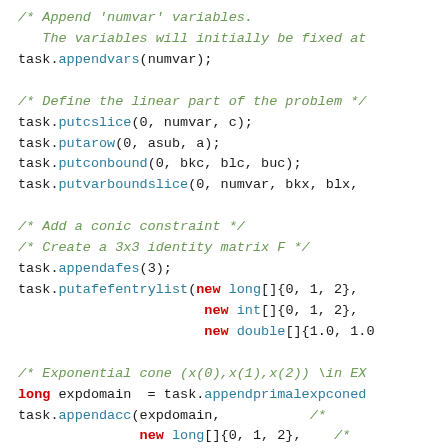Code snippet showing Java/MOSEK optimization API usage including appendvars, putcslice, putarow, putconbound, putvarboundslice, appendafes, putafefentrylist, appendprimalexpconed, appendacc, putobjsense, println, and optimize calls.